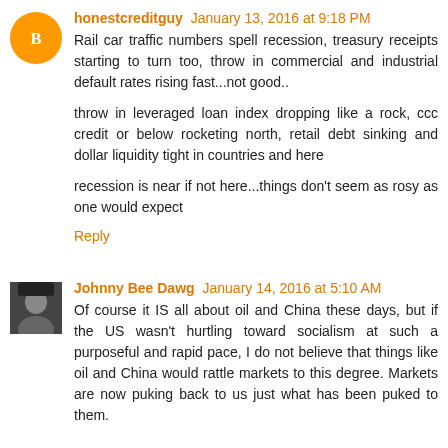honestcreditguy January 13, 2016 at 9:18 PM
Rail car traffic numbers spell recession, treasury receipts starting to turn too, throw in commercial and industrial default rates rising fast...not good..
throw in leveraged loan index dropping like a rock, ccc credit or below rocketing north, retail debt sinking and dollar liquidity tight in countries and here
recession is near if not here...things don't seem as rosy as one would expect
Reply
Johnny Bee Dawg January 14, 2016 at 5:10 AM
Of course it IS all about oil and China these days, but if the US wasn't hurtling toward socialism at such a purposeful and rapid pace, I do not believe that things like oil and China would rattle markets to this degree. Markets are now puking back to us just what has been puked to them.